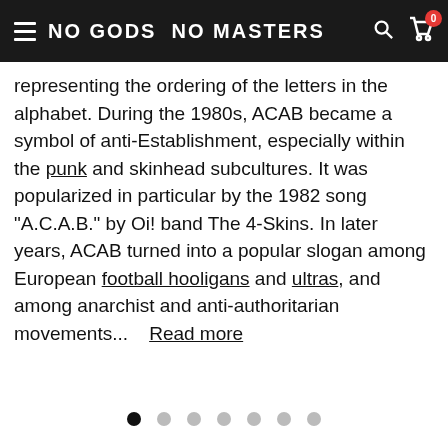NO GODS NO MASTERS
representing the ordering of the letters in the alphabet. During the 1980s, ACAB became a symbol of anti-Establishment, especially within the punk and skinhead subcultures. It was popularized in particular by the 1982 song "A.C.A.B." by Oi! band The 4-Skins. In later years, ACAB turned into a popular slogan among European football hooligans and ultras, and among anarchist and anti-authoritarian movements...   Read more